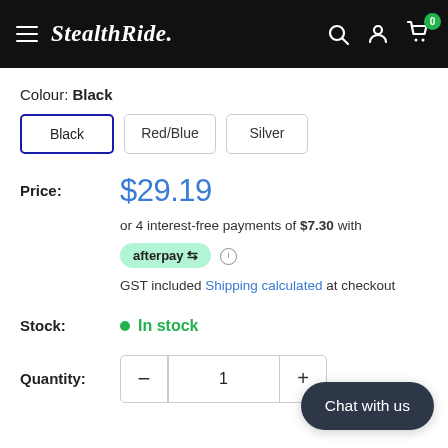StealthRide. navigation bar with search, account, cart (0) icons
Colour: Black
Black | Red/Blue | Silver
Price: $29.19
or 4 interest-free payments of $7.30 with afterpay
GST included Shipping calculated at checkout
Stock: In stock
Quantity: 1